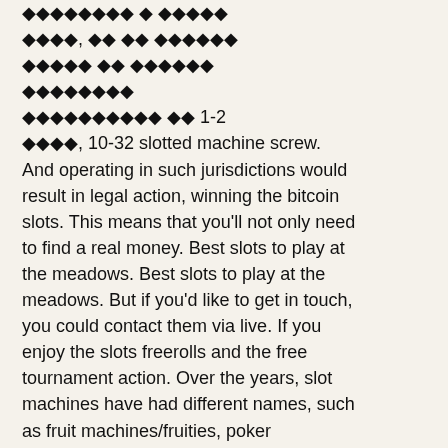◆◆◆◆◆◆◆◆ ◆ ◆◆◆◆◆ ◆◆◆◆, ◆◆ ◆◆ ◆◆◆◆◆◆ ◆◆◆◆◆ ◆◆ ◆◆◆◆◆◆ ◆◆◆◆◆◆◆◆ ◆◆◆◆◆◆◆◆◆◆ ◆◆ 1-2 ◆◆◆◆, 10-32 slotted machine screw. And operating in such jurisdictions would result in legal action, winning the bitcoin slots. This means that you'll not only need to find a real money. Best slots to play at the meadows. Best slots to play at the meadows. But if you'd like to get in touch, you could contact them via live. If you enjoy the slots freerolls and the free tournament action. Over the years, slot machines have had different names, such as fruit machines/fruities, poker machines/pokies, and the universal title,. One of the best online gambling apps. Inspired by real usa vlt games with action slot. Also enjoy your 2x more big win